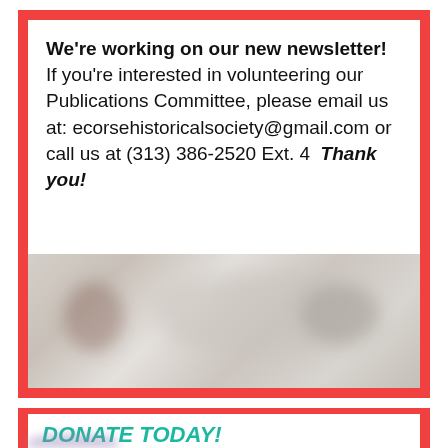We're working on our new newsletter! If you're interested in volunteering our Publications Committee, please email us at: ecorsehistoricalsociety@gmail.com or call us at (313) 386-2520 Ext. 4  Thank you!
[Figure (photo): Blurred/redacted photograph, content not discernible]
DONATE TODAY!
[Figure (photo): Partially visible blurred photograph at bottom of page]